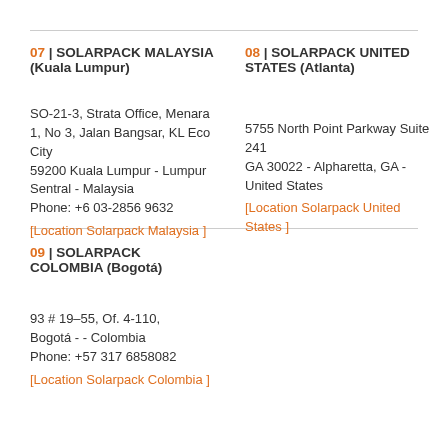07 | SOLARPACK MALAYSIA (Kuala Lumpur)
SO-21-3, Strata Office, Menara 1, No 3, Jalan Bangsar, KL Eco City
59200 Kuala Lumpur - Lumpur Sentral - Malaysia
Phone: +6 03-2856 9632
[Location Solarpack Malaysia ]
08 | SOLARPACK UNITED STATES (Atlanta)
5755 North Point Parkway Suite 241
GA 30022 - Alpharetta, GA - United States
[Location Solarpack United States ]
09 | SOLARPACK COLOMBIA (Bogotá)
93 # 19–55, Of. 4-110,
Bogotá - - Colombia
Phone: +57 317 6858082
[Location Solarpack Colombia ]